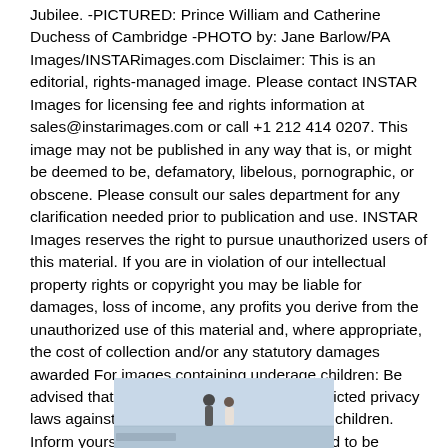Jubilee. -PICTURED: Prince William and Catherine Duchess of Cambridge -PHOTO by: Jane Barlow/PA Images/INSTARimages.com Disclaimer: This is an editorial, rights-managed image. Please contact INSTAR Images for licensing fee and rights information at sales@instarimages.com or call +1 212 414 0207. This image may not be published in any way that is, or might be deemed to be, defamatory, libelous, pornographic, or obscene. Please consult our sales department for any clarification needed prior to publication and use. INSTAR Images reserves the right to pursue unauthorized users of this material. If you are in violation of our intellectual property rights or copyright you may be liable for damages, loss of income, any profits you derive from the unauthorized use of this material and, where appropriate, the cost of collection and/or any statutory damages awarded For images containing underage children: Be advised that some Countries may have restricted privacy laws against publishing images of underage children. Inform yourself! Underage children may need to be removed or have their face pixelated before
[Figure (photo): Partial photo of two people, appearing to show Prince William and Catherine Duchess of Cambridge, visible at the bottom of the page, cropped.]